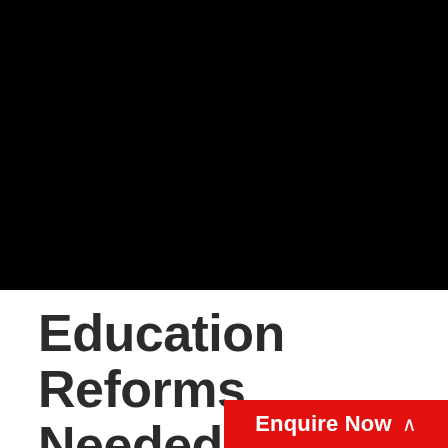[Figure (photo): Black rectangular image filling the upper portion of the page]
Education Reforms Needed in the Union E…
Enquire Now ^